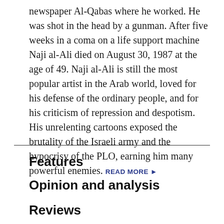newspaper Al-Qabas where he worked. He was shot in the head by a gunman. After five weeks in a coma on a life support machine Naji al-Ali died on August 30, 1987 at the age of 49. Naji al-Ali is still the most popular artist in the Arab world, loved for his defense of the ordinary people, and for his criticism of repression and despotism. His unrelenting cartoons exposed the brutality of the Israeli army and the hypocrisy of the PLO, earning him many powerful enemies. READ MORE ▶
Features
Opinion and analysis
Reviews